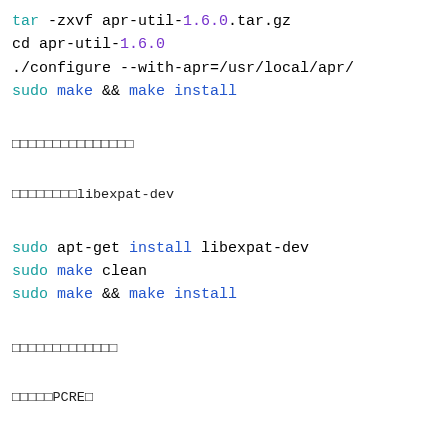tar -zxvf apr-util-1.6.0.tar.gz
cd apr-util-1.6.0
./configure --with-apr=/usr/local/apr/
sudo make && make install
□□□□□□□□□□□□□□□
□□□□□□□□libexpat-dev
sudo apt-get install libexpat-dev
sudo make clean
sudo make && make install
□□□□□□□□□□□□□
□□□□□PCRE□